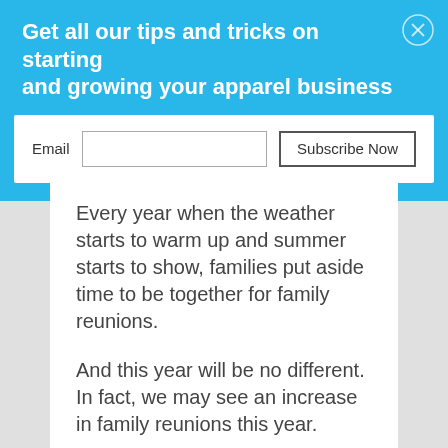Get all our tips and tricks on starting and growing your apparel business
[Figure (screenshot): Email subscription form with Email label, text input field, and Subscribe Now button on white background]
Every year when the weather starts to warm up and summer starts to show, families put aside time to be together for family reunions.
And this year will be no different. In fact, we may see an increase in family reunions this year.
Families will want to get together again after being apart.